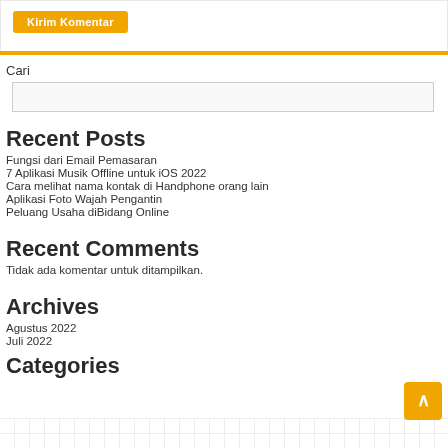Kirim Komentar
Cari
Recent Posts
Fungsi dari Email Pemasaran
7 Aplikasi Musik Offline untuk iOS 2022
Cara melihat nama kontak di Handphone orang lain
Aplikasi Foto Wajah Pengantin
Peluang Usaha diBidang Online
Recent Comments
Tidak ada komentar untuk ditampilkan.
Archives
Agustus 2022
Juli 2022
Categories